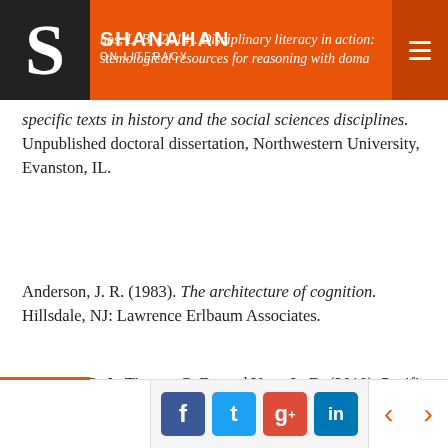Shanahan on Literacy — nos, L. B. (2014). Disciplinary literacy in action: stemological resources for reasoning with domain-specific texts in history and the social sciences disciplines.
specific texts in history and the social sciences disciplines. Unpublished doctoral dissertation, Northwestern University, Evanston, IL.
Anderson, J. R. (1983). The architecture of cognition. Hillsdale, NJ: Lawrence Erlbaum Associates.
Anthony, R. J., Tippett, C. D., and Yore, L. D. (2010). Pacific Crystal project: Explicit literacy instruction embedded in middle school science classrooms. Research In Science Education, 40, 45-64.
Social share buttons: Facebook, Twitter, Google+, LinkedIn. Navigation arrows left and right.